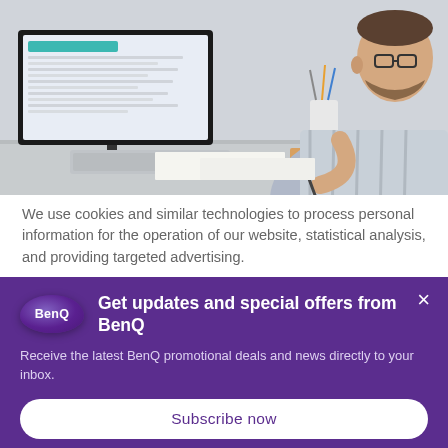[Figure (photo): A man with glasses and a beard sits at a desk working, writing on paper beside a large computer monitor showing a spreadsheet or data interface, with a keyboard and office supplies visible.]
We use cookies and similar technologies to process personal information for the operation of our website, statistical analysis, and providing targeted advertising.
Get updates and special offers from BenQ
Receive the latest BenQ promotional deals and news directly to your inbox.
Subscribe now